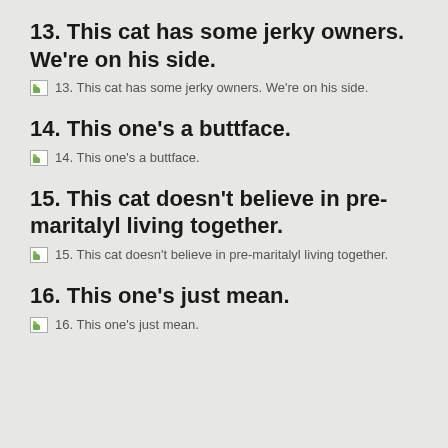13. This cat has some jerky owners. We're on his side.
13. This cat has some jerky owners. We're on his side.
14. This one's a buttface.
14. This one's a buttface.
15. This cat doesn't believe in pre-maritalyl living together.
15. This cat doesn't believe in pre-maritalyl living together.
16. This one's just mean.
16. This one's just mean.